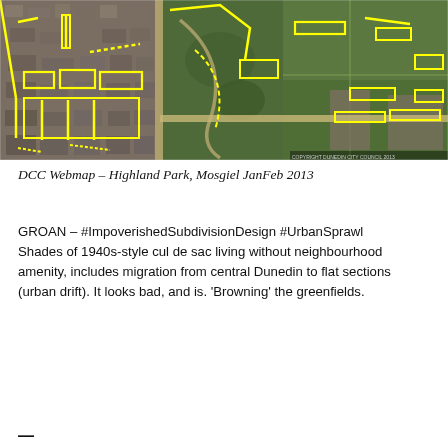[Figure (map): Aerial satellite map of Highland Park, Mosgiel showing yellow highlighted lines/annotations over a suburban and agricultural landscape with roads, subdivisions and greenfields.]
DCC Webmap – Highland Park, Mosgiel JanFeb 2013
GROAN – #ImpoverishedSubdivisionDesign #UrbanSprawl
Shades of 1940s-style cul de sac living without neighbourhood amenity, includes migration from central Dunedin to flat sections (urban drift). It looks bad, and is. 'Browning' the greenfields.
—